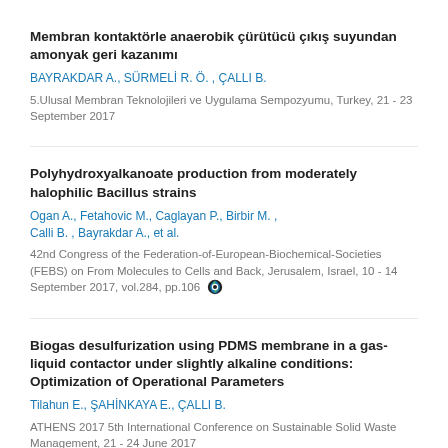Membran kontaktörle anaerobik çürütücü çıkış suyundan amonyak geri kazanımı
BAYRAKDAR A., SÜRMELİ R. Ö. , ÇALLI B.
5.Ulusal Membran Teknolojileri ve Uygulama Sempozyumu, Turkey, 21 - 23 September 2017
Polyhydroxyalkanoate production from moderately halophilic Bacillus strains
Ogan A., Fetahovic M., Caglayan P., Birbir M. , Calli B. , Bayrakdar A., et al.
42nd Congress of the Federation-of-European-Biochemical-Societies (FEBS) on From Molecules to Cells and Back, Jerusalem, Israel, 10 - 14 September 2017, vol.284, pp.106
Biogas desulfurization using PDMS membrane in a gas-liquid contactor under slightly alkaline conditions: Optimization of Operational Parameters
Tilahun E., ŞAHİNKAYA E., ÇALLI B.
ATHENS 2017 5th International Conference on Sustainable Solid Waste Management, 21 - 24 June 2017